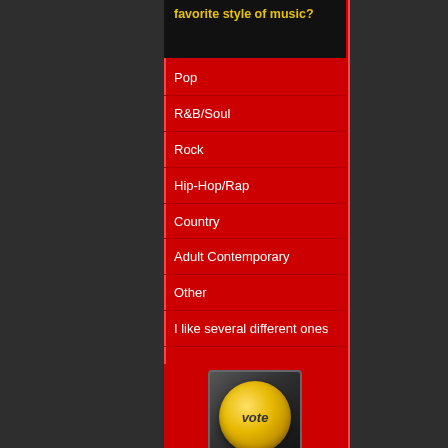favorite style of music?
Pop
R&B/Soul
Rock
Hip-Hop/Rap
Country
Adult Contemporary
Other
I like several different ones
[Figure (illustration): Yellow 'vote' button with glossy sphere appearance on dark square background]
View Results
Crowdsignal.com